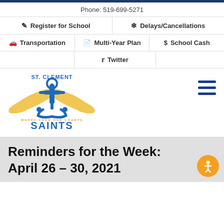Phone: 519-699-5271
Register for School
Delays/Cancellations
Transportation
Multi-Year Plan
School Cash
Twitter
[Figure (logo): St. Clement Saints school logo with winged anchor and text 'WHERE EACH ONE COUNTS SAINTS']
Reminders for the Week: April 26 – 30, 2021